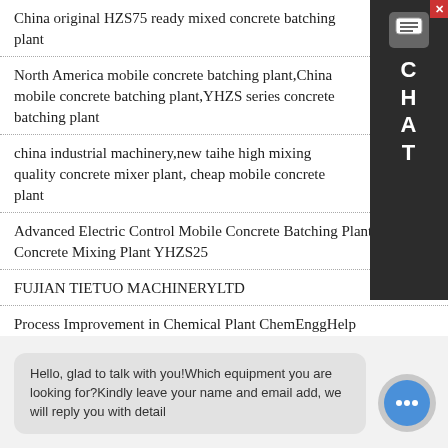China original HZS75 ready mixed concrete batching plant
North America mobile concrete batching plant,China mobile concrete batching plant,YHZS series concrete batching plant
china industrial machinery,new taihe high mixing quality concrete mixer plant, cheap mobile concrete plant
Advanced Electric Control Mobile Concrete Batching Plant Mobile Concrete Mixing Plant YHZS25
FUJIAN TIETUO MACHINERYLTD
Process Improvement in Chemical Plant ChemEnggHelp
S8402 Ride on Concrete Laser screed for sales840 laser
Hello, glad to talk with you!Which equipment you are looking for?Kindly leave your name and email add, we will reply you with detail